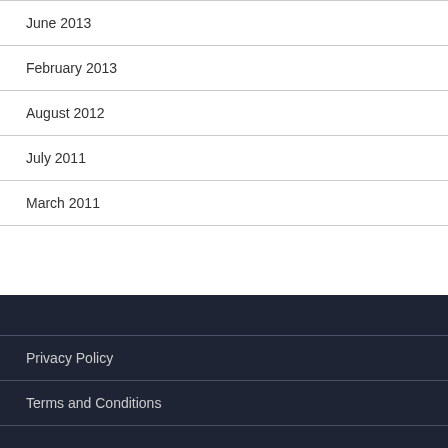June 2013
February 2013
August 2012
July 2011
March 2011
Privacy Policy
Terms and Conditions